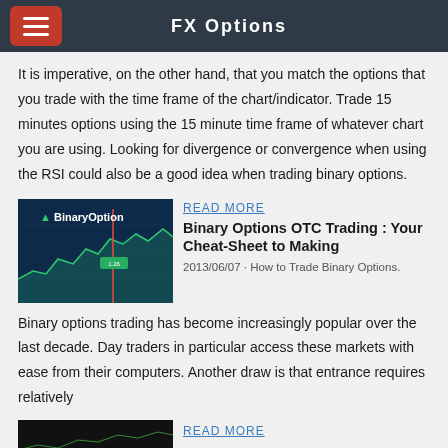FX Options
It is imperative, on the other hand, that you match the options that you trade with the time frame of the chart/indicator. Trade 15 minutes options using the 15 minute time frame of whatever chart you are using. Looking for divergence or convergence when using the RSI could also be a good idea when trading binary options.
[Figure (screenshot): BinaryOption trading platform screenshot showing candlestick/line charts with green and red highlights]
READ MORE
Binary Options OTC Trading : Your Cheat-Sheet to Making
2013/06/07 · How to Trade Binary Options. Binary options trading has become increasingly popular over the last decade. Day traders in particular access these markets with ease from their computers. Another draw is that entrance requires relatively
[Figure (screenshot): Dark trading platform screenshot at bottom of page]
READ MORE